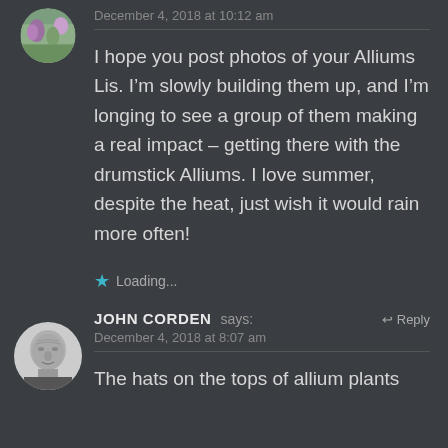[Figure (photo): Circular avatar photo of a garden with flowers, partially cropped at top]
December 4, 2018 at 10:12 am
I hope you post photos of your Alliums Lis. I'm slowly building them up, and I'm longing to see a group of them making a real impact – getting there with the drumstick Alliums. I love summer, despite the heat, just wish it would rain more often!
Loading...
[Figure (photo): Circular black and white avatar photo of an older man, John Corden]
JOHN CORDEN says:
Reply
December 4, 2018 at 8:07 am
The hats on the tops of allium plants